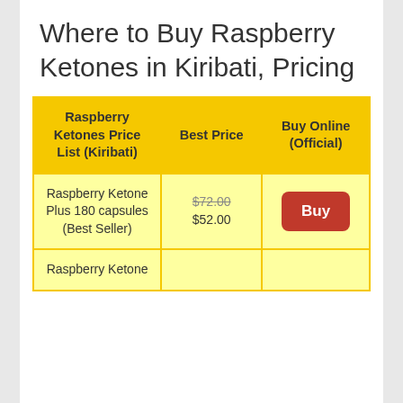Where to Buy Raspberry Ketones in Kiribati, Pricing
| Raspberry Ketones Price List (Kiribati) | Best Price | Buy Online (Official) |
| --- | --- | --- |
| Raspberry Ketone Plus 180 capsules (Best Seller) | $72.00 $52.00 | Buy |
| Raspberry Ketone |  |  |